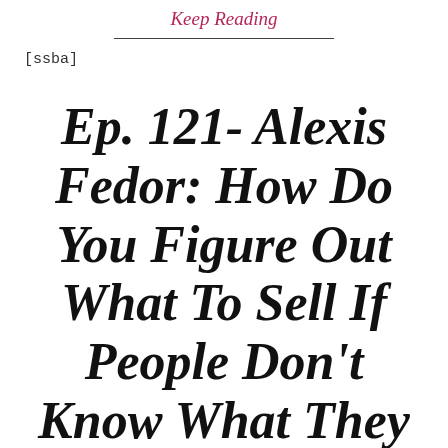Keep Reading
[ssba]
Ep. 121- Alexis Fedor: How Do You Figure Out What To Sell If People Don't Know What They